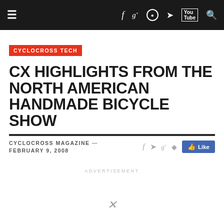≡  f  g+  ○  🐦  Tube  🔍
CYCLOCROSS TECH
CX HIGHLIGHTS FROM THE NORTH AMERICAN HANDMADE BICYCLE SHOW
CYCLOCROSS MAGAZINE — FEBRUARY 9, 2008
ADVERTISEMENT